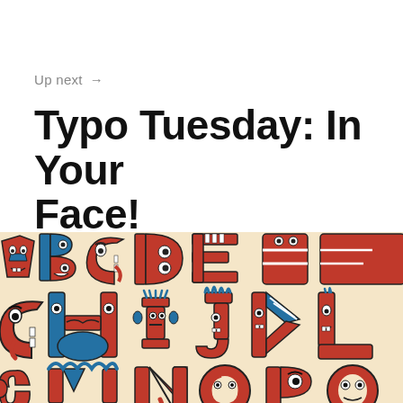Up next →
Typo Tuesday: In Your Face!
[Figure (illustration): Illustrated alphabet letters designed as cartoon faces and characters, rendered in red, blue, and white on a cream/beige background. Visible letters include A, B, C, D, E (top row), G, H, I, J, K, L (middle row), and partial letters in the bottom row. Each letter features a unique face-like character with expressive features.]